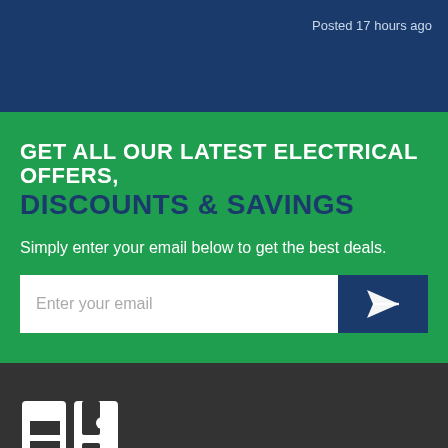Posted 17 hours ago
GET ALL OUR LATEST ELECTRICAL OFFERS, DISCOUNTS & SAVINGS
Simply enter your email below to get the best deals.
[Figure (screenshot): Email input form with placeholder 'Enter your email' and a dark blue submit button with a send/paper-plane icon]
[Figure (logo): EB logo in white on dark grey background, partially visible at bottom of page]